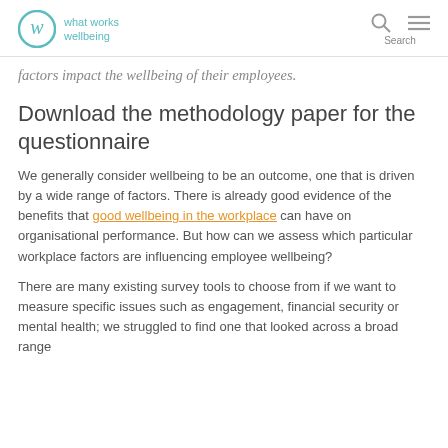what works wellbeing
factors impact the wellbeing of their employees.
Download the methodology paper for the questionnaire
We generally consider wellbeing to be an outcome, one that is driven by a wide range of factors. There is already good evidence of the benefits that good wellbeing in the workplace can have on organisational performance. But how can we assess which particular workplace factors are influencing employee wellbeing?
There are many existing survey tools to choose from if we want to measure specific issues such as engagement, financial security or mental health; we struggled to find one that looked across a broad range